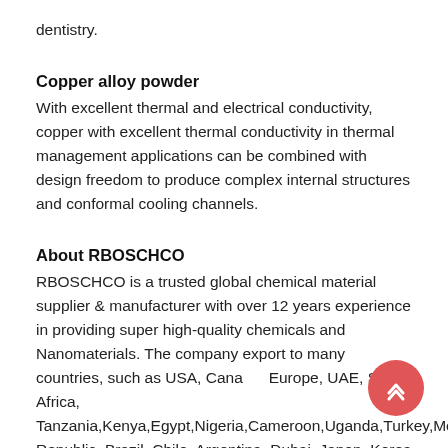dentistry.
Copper alloy powder
With excellent thermal and electrical conductivity, copper with excellent thermal conductivity in thermal management applications can be combined with design freedom to produce complex internal structures and conformal cooling channels.
About RBOSCHCO
RBOSCHCO is a trusted global chemical material supplier & manufacturer with over 12 years experience in providing super high-quality chemicals and Nanomaterials. The company export to many countries, such as USA, Canada, Europe, UAE, South Africa, Tanzania,Kenya,Egypt,Nigeria,Cameroon,Uganda,Turkey,Mexico, Republic, Brazil, Chile, Argentina, Dubai, Japan, Korea